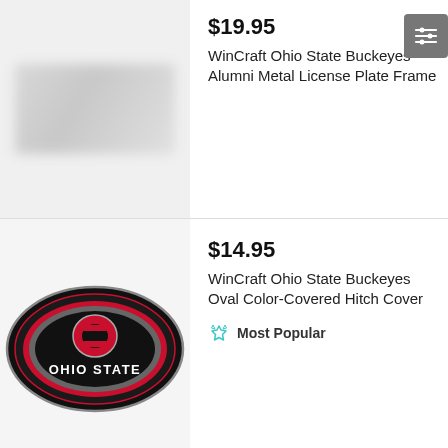[Figure (photo): Product image area for license plate frame, blurred/gray placeholder]
$19.95
WinCraft Ohio State Buckeyes Alumni Metal License Plate Frame
[Figure (photo): Ohio State Buckeyes oval hitch cover with black background and OSU athletic O logo in red and gray with OHIO STATE text]
$14.95
WinCraft Ohio State Buckeyes Oval Color-Covered Hitch Cover
Most Popular